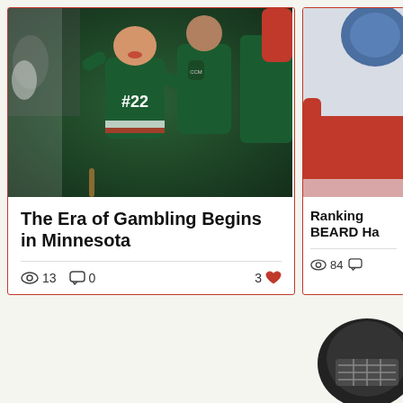[Figure (photo): Minnesota Wild hockey players celebrating on ice, player #22 prominent in green jersey]
The Era of Gambling Begins in Minnesota
13 views · 0 comments · 3 likes
[Figure (photo): Hockey player in red jersey, partially cropped]
Ranking BEARD Ha
84 views
[Figure (photo): Hockey helmet, partially visible at bottom right of page]